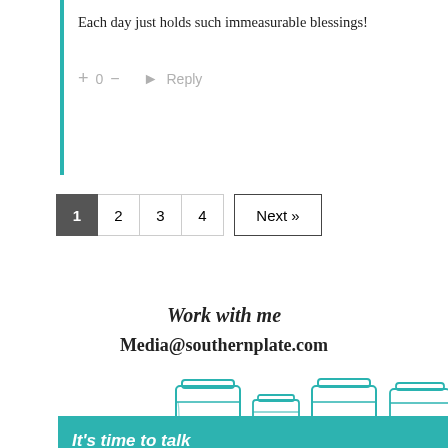Each day just holds such immeasurable blessings!
+ 0 — → Reply
1 2 3 4 Next »
Work with me
Media@southernplate.com
[Figure (illustration): Mason jars illustration in teal/green outline style]
[Figure (infographic): Alzheimer's association advertisement banner: It's time to talk about Alzheimer's. LEARN MORE button, Alzheimer's association logo.]